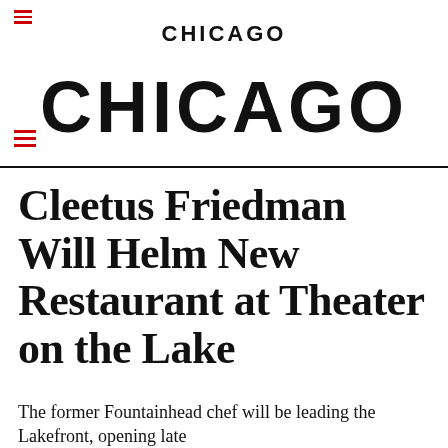CHICAGO
CHICAGO
Cleetus Friedman Will Helm New Restaurant at Theater on the Lake
The former Fountainhead chef will be leading the Lakefront, opening late